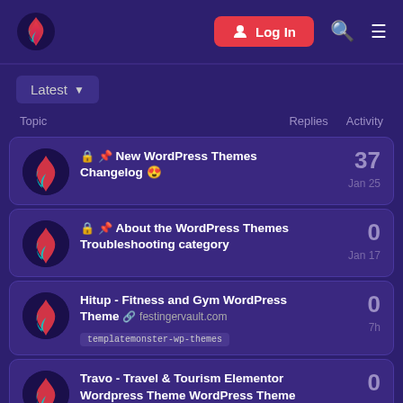Logo | Log In | Search | Menu
Latest ▾
Topic   Replies   Activity
🔒 📌 New WordPress Themes Changelog 😍 | Replies: 37 | Jan 25
🔒 📌 About the WordPress Themes Troubleshooting category | Replies: 0 | Jan 17
Hitup - Fitness and Gym WordPress Theme 🔗 festingervault.com | templatemonster-wp-themes | Replies: 0 | 7h
Travo - Travel & Tourism Elementor Wordpress Theme WordPress Theme | Replies: 0